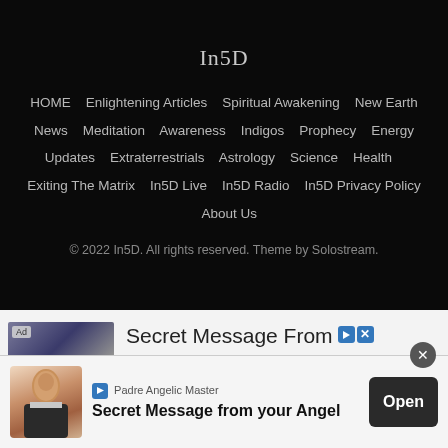In5D
HOME   Enlightening Articles   Spiritual Awakening   New Earth News   Meditation   Awareness   Indigos   Prophecy   Energy Updates   Extraterrestrials   Astrology   Science   Health   Exiting The Matrix   In5D Live   In5D Radio   In5D Privacy Policy   About Us
© 2022 In5D. All rights reserved. Theme by Solostream.
[Figure (screenshot): Advertisement banner: Secret Message From Your Angel - Great Angel Reading 2022, with jewelry/ring image and Ad label]
[Figure (screenshot): Overlay advertisement: Padre Angelic Master - Secret Message from your Angel, with photo of elderly man and Open button]